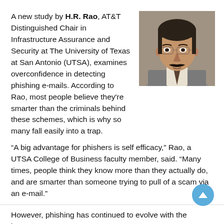A new study by H.R. Rao, AT&T Distinguished Chair in Infrastructure Assurance and Security at The University of Texas at San Antonio (UTSA), examines overconfidence in detecting phishing e-mails. According to Rao, most people believe they're smarter than the criminals behind these schemes, which is why so many fall easily into a trap.
[Figure (photo): Headshot photo of H.R. Rao, a man with dark hair and mustache wearing glasses and a grey suit with a patterned tie, against a grey background.]
“A big advantage for phishers is self efficacy,” Rao, a UTSA College of Business faculty member, said. “Many times, people think they know more than they actually do, and are smarter than someone trying to pull of a scam via an e-mail.”
However, phishing has continued to evolve with the internet...